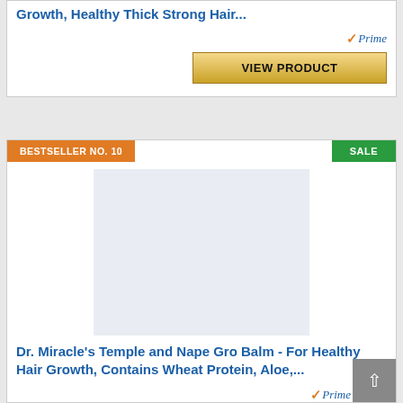Growth, Healthy Thick Strong Hair...
[Figure (other): Amazon Prime badge with orange checkmark and italic Prime text]
VIEW PRODUCT
BESTSELLER NO. 10
SALE
[Figure (photo): Product image placeholder for Dr. Miracle's Temple and Nape Gro Balm]
Dr. Miracle's Temple and Nape Gro Balm - For Healthy Hair Growth, Contains Wheat Protein, Aloe,...
[Figure (other): Amazon Prime badge with orange checkmark and italic Prime text]
VIEW PRODUCT